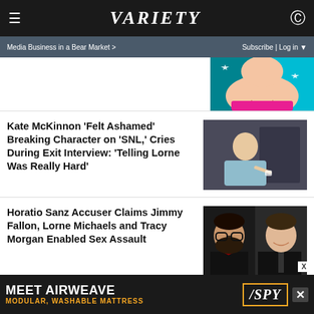VARIETY
Media Business in a Bear Market >   Subscribe | Log in
[Figure (illustration): Partial view of a colorful illustrated image with a smiling face and stars, teal and pink tones]
Kate McKinnon ‘Felt Ashamed’ Breaking Character on ‘SNL,’ Cries During Exit Interview: ‘Telling Lorne Was Really Hard’
[Figure (photo): Photo of Kate McKinnon in a scene, wearing a floral shirt, dark background]
Horatio Sanz Accuser Claims Jimmy Fallon, Lorne Michaels and Tracy Morgan Enabled Sex Assault
[Figure (photo): Side-by-side photos of Horatio Sanz (left, with beard and glasses, bow tie) and Jimmy Fallon (right, smiling in suit)]
MEET AIRWEAVE
MODULAR, WASHABLE MATTRESS   /SPY